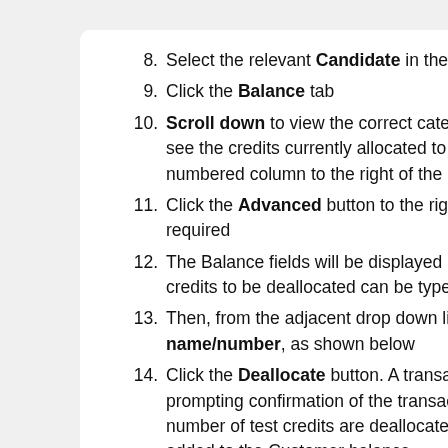8. Select the relevant Candidate in the Candida…
9. Click the Balance tab
10. Scroll down to view the correct category requ… see the credits currently allocated to the Cand… numbered column to the right of the credit cat…
11. Click the Advanced button to the right of the… required
12. The Balance fields will be displayed and the n… credits to be deallocated can be typed in the B…
13. Then, from the adjacent drop down list, select… name/number, as shown below
14. Click the Deallocate button. A transaction listi… prompting confirmation of the transaction. Th… number of test credits are deallocated from th… added to the Customer balance
15. Click the Ok button to continue
16. Click on the Balance tab to return to the test…